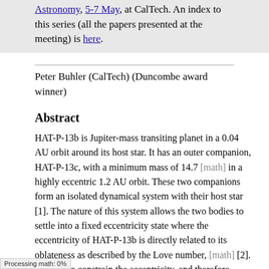Astronomy, 5-7 May, at CalTech. An index to this series (all the papers presented at the meeting) is here.
Peter Buhler (CalTech) (Duncombe award winner)
Abstract
HAT-P-13b is Jupiter-mass transiting planet in a 0.04 AU orbit around its host star. It has an outer companion, HAT-P-13c, with a minimum mass of 14.7 [math] in a highly eccentric 1.2 AU orbit. These two companions form an isolated dynamical system with their host star [1]. The nature of this system allows the two bodies to settle into a fixed eccentricity state where the eccentricity of HAT-P-13b is directly related to its oblateness as described by the Love number, [math] [2]. In order to constrain the eccentricity, and therefore [math], of HAT-P-13b, we use the Spitzer Space Telescope to measure the timing of ry eclipses at 3.6 and 4.5 μm. We then
Processing math: 0%